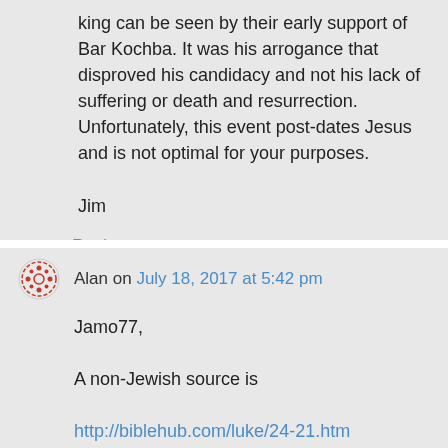king can be seen by their early support of Bar Kochba. It was his arrogance that disproved his candidacy and not his lack of suffering or death and resurrection. Unfortunately, this event post-dates Jesus and is not optimal for your purposes.

Jim
↳ Reply
Alan on July 18, 2017 at 5:42 pm
Jamo77,

A non-Jewish source is

http://biblehub.com/luke/24-21.htm